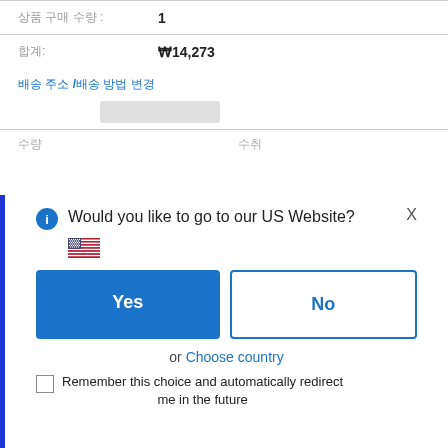상품 구매 수량 : 1
합계: ₩14,273
배송 주소 /배송 방법 변경
수량 수취
Would you like to go to our US Website?
[Figure (other): US flag emoji]
Yes
No
or Choose country
Remember this choice and automatically redirect me in the future